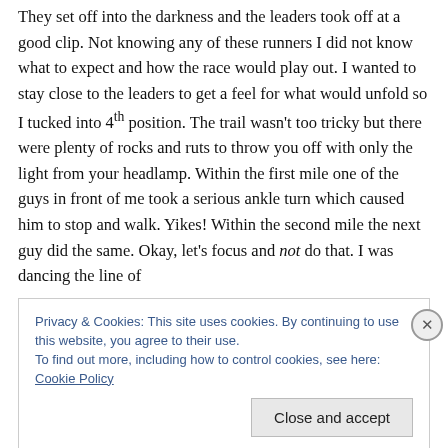They set off into the darkness and the leaders took off at a good clip. Not knowing any of these runners I did not know what to expect and how the race would play out. I wanted to stay close to the leaders to get a feel for what would unfold so I tucked into 4th position. The trail wasn't too tricky but there were plenty of rocks and ruts to throw you off with only the light from your headlamp. Within the first mile one of the guys in front of me took a serious ankle turn which caused him to stop and walk. Yikes! Within the second mile the next guy did the same. Okay, let's focus and not do that. I was dancing the line of
Privacy & Cookies: This site uses cookies. By continuing to use this website, you agree to their use.
To find out more, including how to control cookies, see here: Cookie Policy